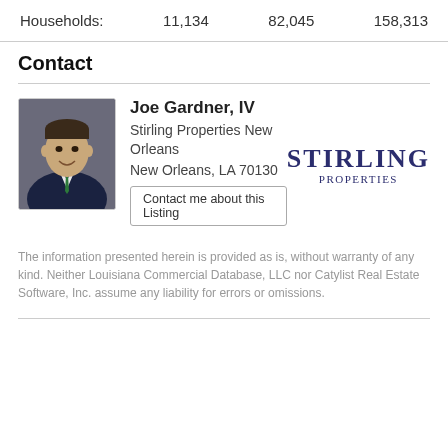Households: 11,134  82,045  158,313
Contact
Joe Gardner, IV
Stirling Properties New Orleans
New Orleans, LA 70130
Contact me about this Listing
[Figure (photo): Headshot of Joe Gardner IV, a man in a dark suit with a green tie, smiling.]
[Figure (logo): Stirling Properties logo in dark navy/purple serif font.]
The information presented herein is provided as is, without warranty of any kind. Neither Louisiana Commercial Database, LLC nor Catylist Real Estate Software, Inc. assume any liability for errors or omissions.